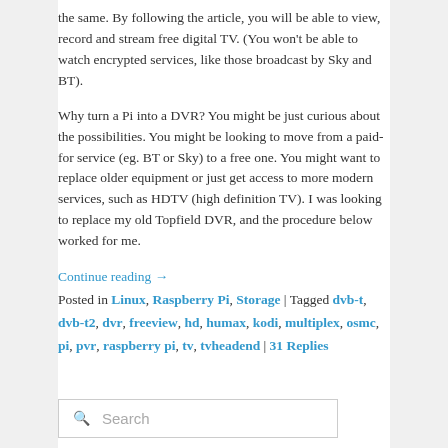the same. By following the article, you will be able to view, record and stream free digital TV. (You won't be able to watch encrypted services, like those broadcast by Sky and BT).
Why turn a Pi into a DVR? You might be just curious about the possibilities. You might be looking to move from a paid-for service (eg. BT or Sky) to a free one. You might want to replace older equipment or just get access to more modern services, such as HDTV (high definition TV). I was looking to replace my old Topfield DVR, and the procedure below worked for me.
Continue reading → Posted in Linux, Raspberry Pi, Storage | Tagged dvb-t, dvb-t2, dvr, freeview, hd, humax, kodi, multiplex, osmc, pi, pvr, raspberry pi, tv, tvheadend | 31 Replies